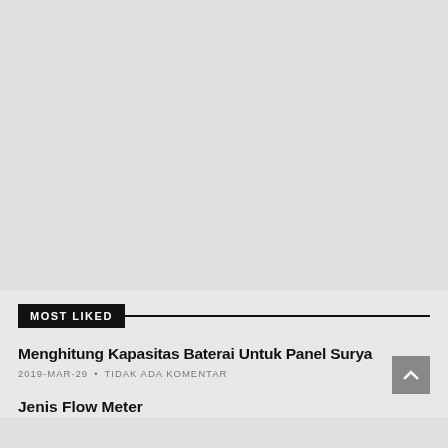[Figure (other): Large light gray placeholder area occupying the upper portion of the page]
MOST LIKED
Menghitung Kapasitas Baterai Untuk Panel Surya
2019-MAR-29 • TIDAK ADA KOMENTAR
Jenis Flow Meter